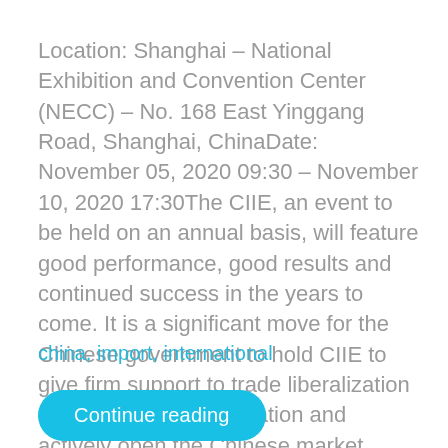Location: Shanghai – National Exhibition and Convention Center (NECC) – No. 168 East Yinggang Road, Shanghai, ChinaDate: November 05, 2020 09:30 – November 10, 2020 17:30The CIIE, an event to be held on an annual basis, will feature good performance, good results and continued success in the years to come. It is a significant move for the Chinese government to hold CIIE to give firm support to trade liberalization and economic globalization and actively open the Chinese market...
china, import, international
Continue reading